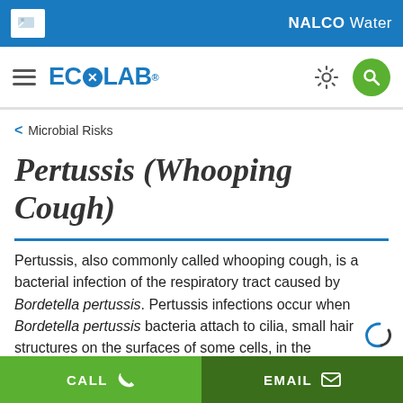NALCO Water
[Figure (logo): Ecolab logo with hamburger menu, gear icon, and green search button]
< Microbial Risks
Pertussis (Whooping Cough)
Pertussis, also commonly called whooping cough, is a bacterial infection of the respiratory tract caused by Bordetella pertussis. Pertussis infections occur when Bordetella pertussis bacteria attach to cilia, small hair like structures on the surfaces of some cells, in the
CALL   EMAIL